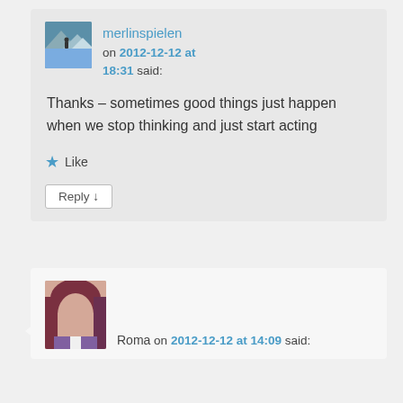merlinspielen on 2012-12-12 at 18:31 said:
Thanks – sometimes good things just happen when we stop thinking and just start acting
★ Like
Reply ↓
Roma on 2012-12-12 at 14:09 said: